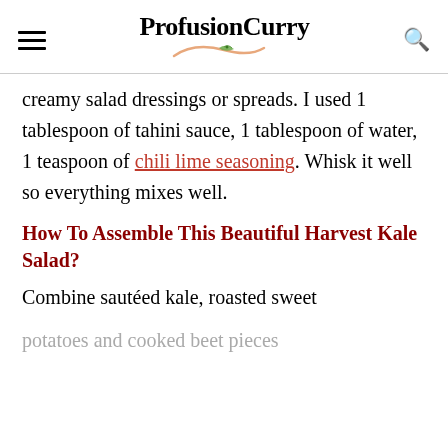ProfusionCurry
creamy salad dressings or spreads. I used 1 tablespoon of tahini sauce, 1 tablespoon of water, 1 teaspoon of chili lime seasoning. Whisk it well so everything mixes well.
How To Assemble This Beautiful Harvest Kale Salad?
Combine sautéed kale, roasted sweet potatoes and cooked beet pieces